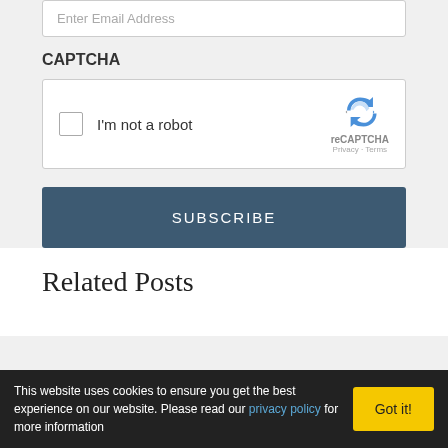Enter Email Address
CAPTCHA
[Figure (other): reCAPTCHA widget with checkbox 'I'm not a robot' and reCAPTCHA logo, Privacy and Terms links]
SUBSCRIBE
Related Posts
This website uses cookies to ensure you get the best experience on our website. Please read our privacy policy for more information